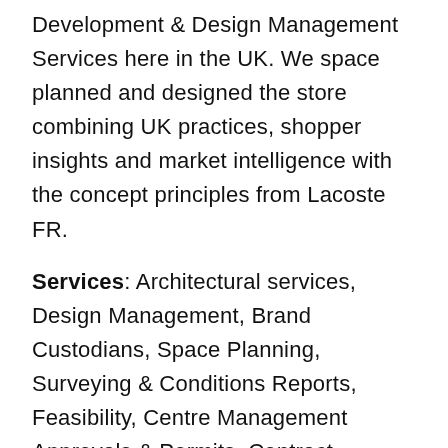Development & Design Management Services here in the UK. We space planned and designed the store combining UK practices, shopper insights and market intelligence with the concept principles from Lacoste FR.
Services: Architectural services, Design Management, Brand Custodians, Space Planning, Surveying & Conditions Reports, Feasibility, Centre Management Approvals & Permits, Contract Negotiation.
Designer: Lacoste & Field